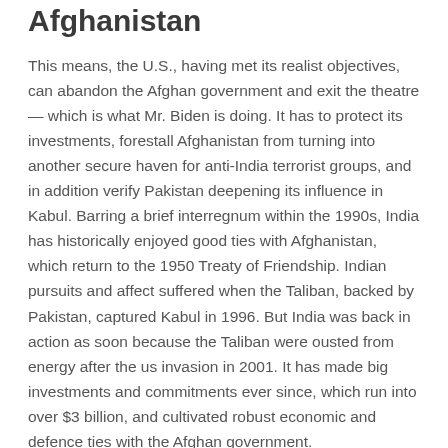Afghanistan
This means, the U.S., having met its realist objectives, can abandon the Afghan government and exit the theatre — which is what Mr. Biden is doing. It has to protect its investments, forestall Afghanistan from turning into another secure haven for anti-India terrorist groups, and in addition verify Pakistan deepening its influence in Kabul. Barring a brief interregnum within the 1990s, India has historically enjoyed good ties with Afghanistan, which return to the 1950 Treaty of Friendship. Indian pursuits and affect suffered when the Taliban, backed by Pakistan, captured Kabul in 1996. But India was back in action as soon because the Taliban were ousted from energy after the us invasion in 2001. It has made big investments and commitments ever since, which run into over $3 billion, and cultivated robust economic and defence ties with the Afghan government.
Indias Restricted Choices In Afghanistan